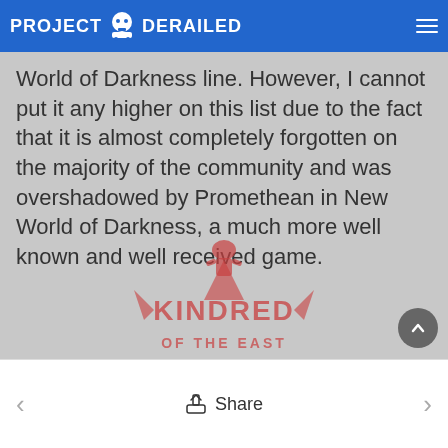PROJECT DERAILED
World of Darkness line. However, I cannot put it any higher on this list due to the fact that it is almost completely forgotten on the majority of the community and was overshadowed by Promethean in New World of Darkness, a much more well known and well received game.
[Figure (logo): Kindred of the East logo - stylized red text with a figure above it]
Share